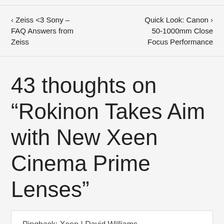‹ Zeiss <3 Sony – FAQ Answers from Zeiss
Quick Look: Canon › 50-1000mm Close Focus Performance
43 thoughts on “Rokinon Takes Aim with New Xeen Cinema Prime Lenses”
Pingback: Xeen | David Williams